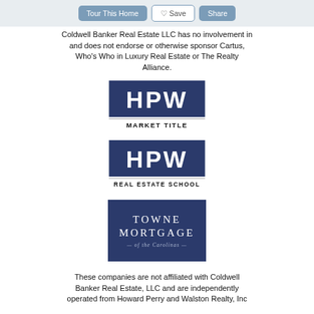Tour This Home | Save | Share
Coldwell Banker Real Estate LLC has no involvement in and does not endorse or otherwise sponsor Cartus, Who's Who in Luxury Real Estate or The Realty Alliance.
[Figure (logo): HPW Market Title logo — dark navy rectangle with bold white HPW text, below a horizontal rule and the text MARKET TITLE in small caps]
[Figure (logo): HPW Real Estate School logo — dark navy rectangle with bold white HPW text, below a horizontal rule and the text REAL ESTATE SCHOOL in small caps]
[Figure (logo): Towne Mortgage of the Carolinas logo — dark navy rectangle with serif white text reading TOWNE MORTGAGE — of the Carolinas —]
These companies are not affiliated with Coldwell Banker Real Estate, LLC and are independently operated from Howard Perry and Walston Realty, Inc